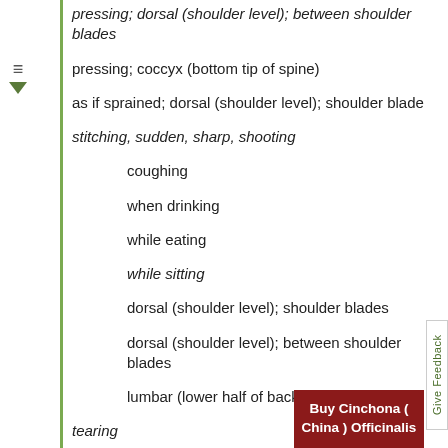pressing; dorsal (shoulder level); between shoulder blades
pressing; coccyx (bottom tip of spine)
as if sprained; dorsal (shoulder level); shoulder blade
stitching, sudden, sharp, shooting
coughing
when drinking
while eating
while sitting
dorsal (shoulder level); shoulder blades
dorsal (shoulder level); between shoulder blades
lumbar (lower half of back)
tearing
extending to thighs